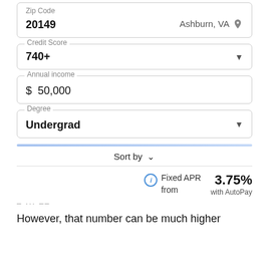Zip Code
20149
Ashburn, VA
Credit Score
740+
Annual income
$ 50,000
Degree
Undergrad
Sort by
Fixed APR from
3.75%
with AutoPay
However, that number can be much higher